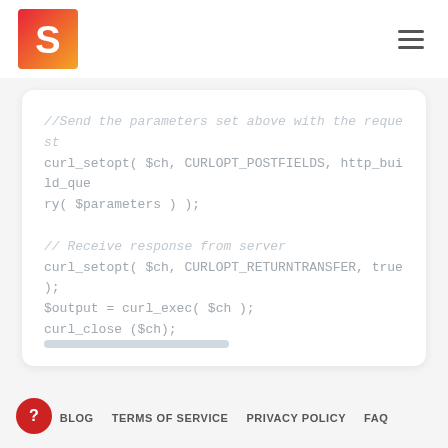S logo and navigation hamburger menu
[Figure (screenshot): Code block showing PHP curl code: comment //Send the parameters set above with the request, then curl_setopt( $ch, CURLOPT_POSTFIELDS, http_build_query( $parameters ) );, blank line, comment // Receive response from server, then curl_setopt( $ch, CURLOPT_RETURNTRANSFER, true );, $output = curl_exec( $ch );, curl_close ($ch);, blank line, comment //Show the server response, then echo $output;]
BLOG   TERMS OF SERVICE   PRIVACY POLICY   FAQ